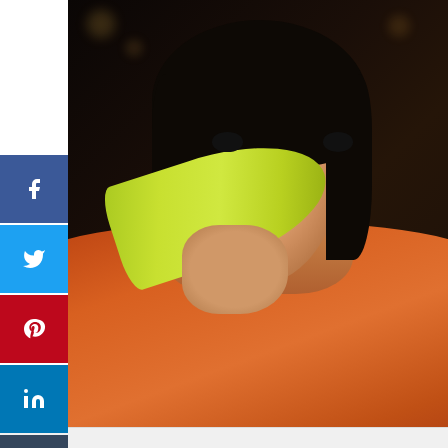[Figure (photo): Person holding a green banana like a phone against their ear, wearing an orange jacket, dark background]
BACKSEAT DOWNUNDER
MUSIC
NEWS
TRACK / VIDEO
NEWS: THE TRIUMPHANT RETURN OF LAZERDAZE SEES ANNOUNCEMENT OF EP THROUGH SECTION1/FLYING NUN RECORDS, UNVEILING OF CATHARTIC TITLE TRACK
[Figure (infographic): Advertisement banner for 1800flowers.com - Explore Our Gifts & More. Personalized Gifts - Spa Baskets - Get Sets. www.1800flowers.com]